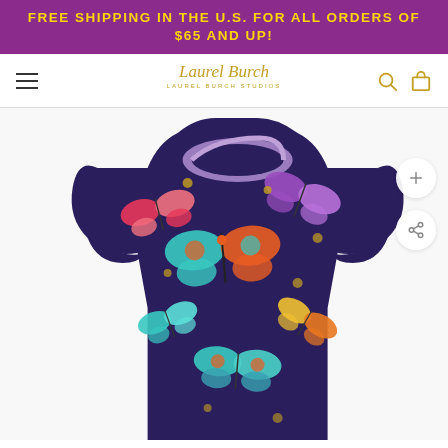FREE SHIPPING IN THE U.S. FOR ALL ORDERS OF $65 AND UP!
[Figure (logo): Laurel Burch Studios cursive signature logo in gold]
[Figure (photo): A women's t-shirt with colorful butterfly print on dark navy/purple background, featuring a lavender crew neckline and short puffed sleeves. The shirt is displayed on a white background. On the right side are two circular action buttons: a zoom/plus button and a share button.]